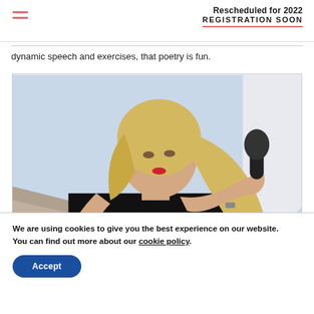Rescheduled for 2022 | REGISTRATION SOON
dynamic speech and exercises, that poetry is fun.
[Figure (photo): A blonde woman in a black top holding a microphone with both hands raised, presenting on stage with a light background.]
We are using cookies to give you the best experience on our website.
You can find out more about our cookie policy.
Accept